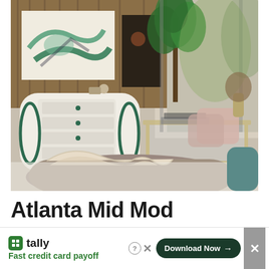[Figure (photo): Interior photograph of a mid-century modern living room featuring a white dresser with green circular drawer pulls, abstract wall art, a glass and brass coffee table, a chaise lounge with cream knit throw blanket, a fiddle-leaf fig plant, pink accent chairs, and a shag rug. Large floor-to-ceiling windows reveal outdoor foliage.]
Atlanta Mid Mod
[Figure (infographic): Advertisement banner for Tally app. Green Tally logo icon and name on left, tagline 'Fast credit card payoff' in green below. On right: question mark circle, X close button, green 'Download Now →' button, and gray X close box.]